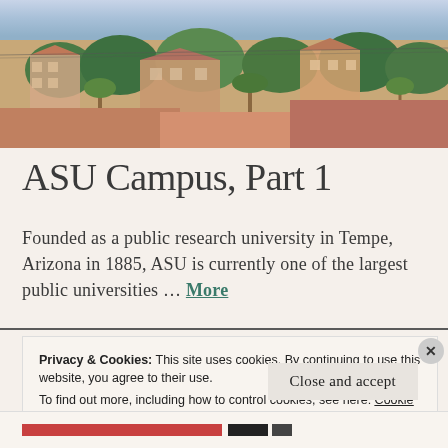[Figure (photo): Aerial/elevated view of ASU campus and surrounding Tempe, Arizona neighborhood with buildings, trees, and colorful rooftops at dusk or sunset.]
ASU Campus, Part 1
Founded as a public research university in Tempe, Arizona in 1885, ASU is currently one of the largest public universities … More
Privacy & Cookies: This site uses cookies. By continuing to use this website, you agree to their use. To find out more, including how to control cookies, see here: Cookie Policy
Close and accept